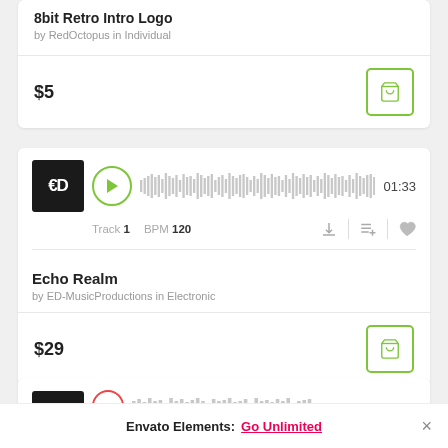8bit Retro Intro Logo
by RedOctopus in Individual
$5
[Figure (other): Shopping cart button with green border]
[Figure (other): Music player card with ED thumbnail, play button, waveform, duration 01:33, Track 1, BPM 120]
Echo Realm
by ED-MusicProductions in Electronic
$29
[Figure (other): Shopping cart button with green border]
[Figure (other): Partial music player card at bottom]
Envato Elements: Go Unlimited ×